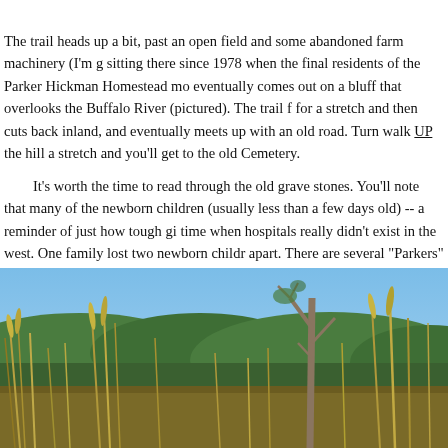The trail heads up a bit, past an open field and some abandoned farm machinery (I'm g sitting there since 1978 when the final residents of the Parker Hickman Homestead mo eventually comes out on a bluff that overlooks the Buffalo River (pictured). The trail f for a stretch and then cuts back inland, and eventually meets up with an old road. Turn walk UP the hill a stretch and you'll get to the old Cemetery.
It's worth the time to read through the old grave stones. You'll note that many of the newborn children (usually less than a few days old) -- a reminder of just how tough gi time when hospitals really didn't exist in the west. One family lost two newborn childr apart. There are several "Parkers" buried at this site....likely family members of the
[Figure (photo): Outdoor landscape photograph showing tall dry grass and wild grain stalks in the foreground, a dead bare tree in the center-right, green forested hills in the middle distance, and a blue sky above.]